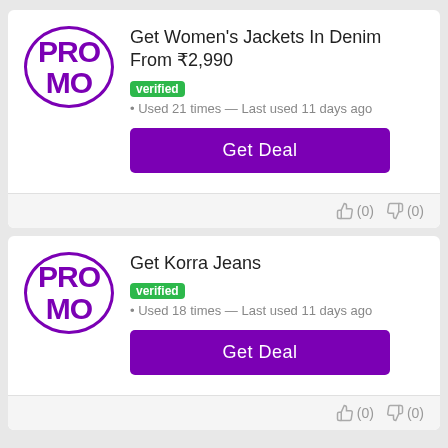[Figure (logo): Purple PROMO logo in circle border]
Get Women's Jackets In Denim From ₹2,990
verified • Used 21 times — Last used 11 days ago
Get Deal
(0) (0)
[Figure (logo): Purple PROMO logo in circle border]
Get Korra Jeans
verified • Used 18 times — Last used 11 days ago
Get Deal
(0) (0)